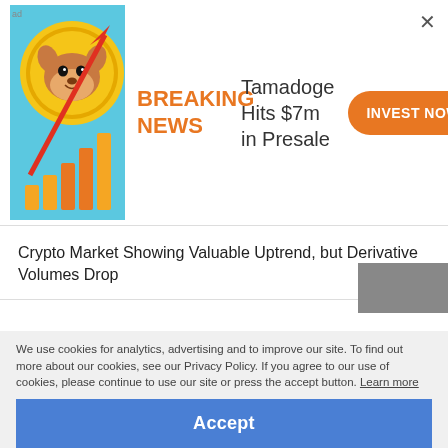[Figure (infographic): Tamadoge advertisement banner with crypto dog mascot and bar chart with upward arrow, breaking news label, and Invest Now button]
Crypto Market Showing Valuable Uptrend, but Derivative Volumes Drop
Bullish Sentiment Builds in Light of $6B Crypto Options Expiring Today
Crypto Market Shows Great Opportunity for Swing Traders; Derivatives Volume Sees Slight Drop
Cryptocurrency Market Nears Previous Peak; Derivatives Recover
We use cookies for analytics, advertising and to improve our site. To find out more about our cookies, see our Privacy Policy. If you agree to our use of cookies, please continue to use our site or press the accept button. Learn more